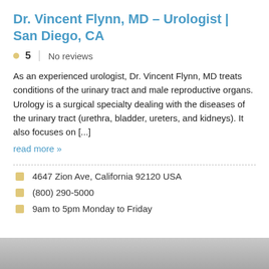Dr. Vincent Flynn, MD – Urologist | San Diego, CA
.5   No reviews
As an experienced urologist, Dr. Vincent Flynn, MD treats conditions of the urinary tract and male reproductive organs. Urology is a surgical specialty dealing with the diseases of the urinary tract (urethra, bladder, ureters, and kidneys). It also focuses on [...]
read more »
4647 Zion Ave, California 92120 USA
(800) 290-5000
9am to 5pm Monday to Friday
[Figure (photo): Gray map or image strip at the bottom of the page]